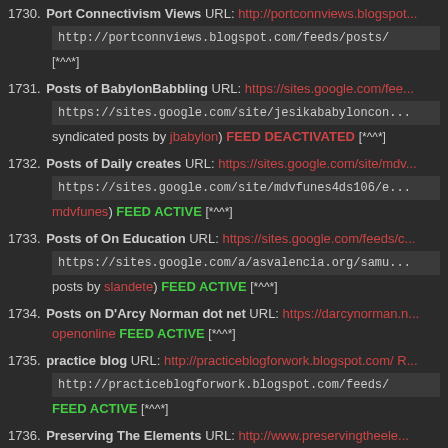1730. Port Connectivism Views URL: http://portconnviews.blogspot.com/ http://portconnviews.blogspot.com/feeds/posts/ [*^^*]
1731. Posts of BabylonBabbling URL: https://sites.google.com/fee... https://sites.google.com/site/jesikababyloncon... syndicated posts by jbabylon) FEED DEACTIVATED [*^^*]
1732. Posts of Daily creates URL: https://sites.google.com/site/mdv... https://sites.google.com/site/mdvfunes4ds106/e... mdvfunes) FEED ACTIVE [*^^*]
1733. Posts of On Education URL: https://sites.google.com/feeds/c... https://sites.google.com/a/asvalencia.org/samu... posts by slandete) FEED ACTIVE [*^^*]
1734. Posts on D'Arcy Norman dot net URL: https://darcynorman.n... openonline FEED ACTIVE [*^^*]
1735. practice blog URL: http://practiceblogforwork.blogspot.com/ R... http://practiceblogforwork.blogspot.com/feeds/ FEED ACTIVE [*^^*]
1736. Preserving The Elements URL: http://www.preservingtheele...